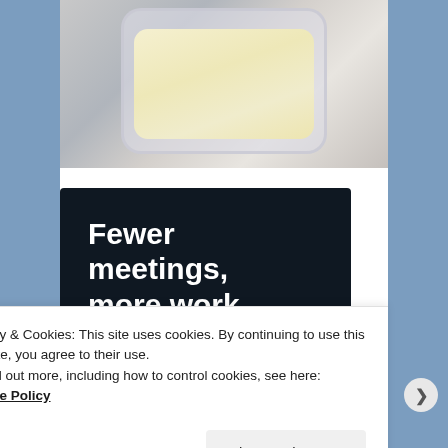[Figure (photo): Photo of a cream or butter-like substance in a clear plastic heart-shaped or rounded container on a light gray/white wooden surface, viewed from above.]
[Figure (infographic): Dark navy advertisement banner with large white bold text reading 'Fewer meetings, more work.' and a rounded outline button labeled 'Get started for free'.]
Privacy & Cookies: This site uses cookies. By continuing to use this website, you agree to their use.
To find out more, including how to control cookies, see here: Cookie Policy
Close and accept